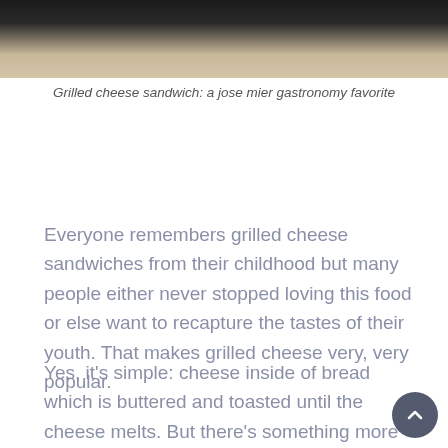[Figure (photo): Top portion of a grilled cheese sandwich on a plate, showing the beige/cream colored plate edge against a dark background]
Grilled cheese sandwich: a jose mier gastronomy favorite
Everyone remembers grilled cheese sandwiches from their childhood but many people either never stopped loving this food or else want to recapture the tastes of their youth. That makes grilled cheese very, very popular.
Yes, it's simple: cheese inside of bread which is buttered and toasted until the cheese melts. But there's something more to it. It is certainly a comfort food that makes a lot of us feel better when we eat it. It's gone from humble kid's treat to an item on some upscale gourmet restaurant